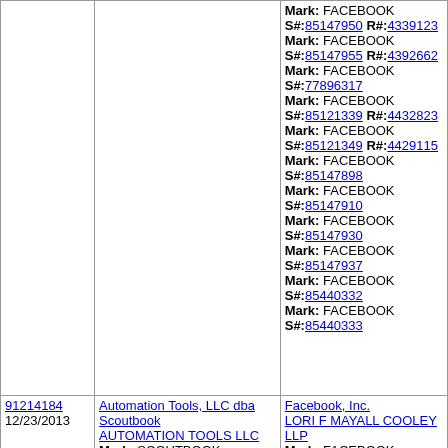| Case Number / Date | Applicant / Mark | Defendant / Marks |
| --- | --- | --- |
|  |  | Mark: FACEBOOK
S#:85147950 R#:4339123
Mark: FACEBOOK
S#:85147955 R#:4392662
Mark: FACEBOOK
S#:77896317
Mark: FACEBOOK
S#:85121339 R#:4432823
Mark: FACEBOOK
S#:85121349 R#:4429115
Mark: FACEBOOK
S#:85147898
Mark: FACEBOOK
S#:85147910
Mark: FACEBOOK
S#:85147930
Mark: FACEBOOK
S#:85147937
Mark: FACEBOOK
S#:85440332
Mark: FACEBOOK
S#:85440333 |
| 91214184
12/23/2013 | Automation Tools, LLC dba Scoutbook
AUTOMATION TOOLS LLC
Mark: SCOUTBOOK
S#:85841546 | Facebook, Inc.
LORI F MAYALL COOLEY LLP
Mark: FACEBOOK
S#:78574726 R#:3041791
Mark: FACEBOOK
S#:78574730 R#:3122052
Mark: FACEBOOK |